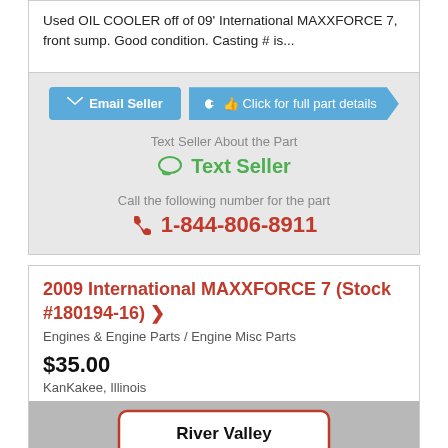Used OIL COOLER off of 09' International MAXXFORCE 7, front sump. Good condition. Casting # is...
Email Seller
Click for full part details
Text Seller About the Part
Text Seller
Call the following number for the part
1-844-806-8911
2009 International MAXXFORCE 7 (Stock #180194-16) >
Engines & Engine Parts / Engine Misc Parts
$35.00
KanKakee, Illinois
[Figure (photo): River Valley TruckPARTS sign/logo on white background]